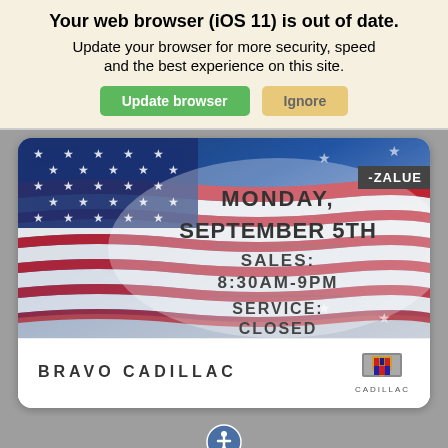Your web browser (iOS 11) is out of date. Update your browser for more security, speed and the best experience on this site.
[Figure (screenshot): Two buttons: green 'Update browser' button and tan 'Ignore' button]
[Figure (illustration): American flag background with text overlay: MONDAY, SEPTEMBER 5TH, SALES: 8:30AM-9PM, SERVICE: CLOSED. ZALUE tag in top right corner.]
BRAVO CADILLAC
[Figure (logo): Cadillac crest logo with CADILLAC text below]